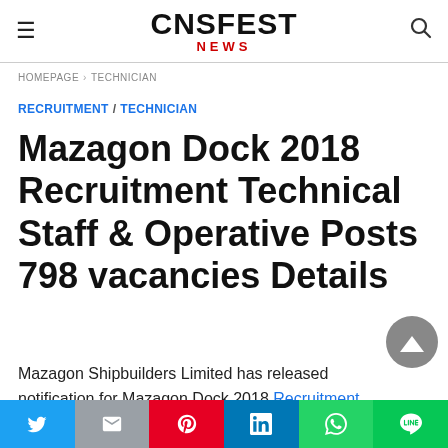CNSFEST NEWS
HOMEPAGE › TECHNICIAN
RECRUITMENT / TECHNICIAN
Mazagon Dock 2018 Recruitment Technical Staff & Operative Posts 798 vacancies Details
Mazagon Shipbuilders Limited has released notification for Mazagon Dock 2018 Recruitment Technical Staff like Composite Welder, Jr.